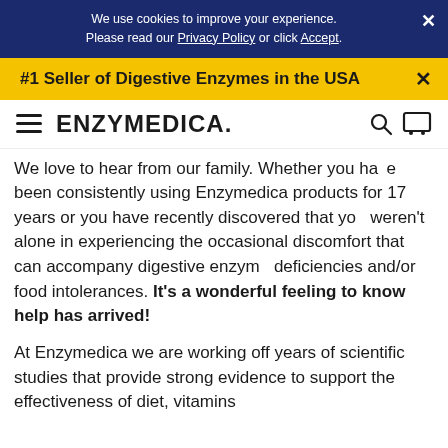We use cookies to improve your experience. Please read our Privacy Policy or click Accept.
#1 Seller of Digestive Enzymes in the USA
ENZYMEDICA.
We love to hear from our family. Whether you have been consistently using Enzymedica products for 17 years or you have recently discovered that you weren't alone in experiencing the occasional discomfort that can accompany digestive enzyme deficiencies and/or food intolerances. It's a wonderful feeling to know help has arrived!
At Enzymedica we are working off years of scientific studies that provide strong evidence to support the effectiveness of diet, vitamins